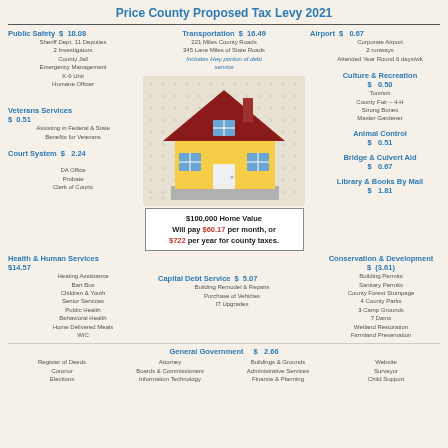Price County Proposed Tax Levy 2021
Public Safety   $ 18.08
Sheriff Dept. 11 Deputies
2 Investigators
County Jail
Emergency Management
K-9 Unit
Humane Officer
Transportation   $ 16.49
221 Miles County Roads
345 Lane Miles of State Roads
Includes Hwy portion of debt service
Airport   $ 0.67
Corporate Airport
2 runways
Attended Year Round 6 days/wk
[Figure (illustration): Illustration of a yellow house with a dark red roof, chimney, blue windows, and white door on a gray foundation, surrounded by a dotted background pattern.]
Culture & Recreation   $ 0.50
Tourism
County Fair – 4-H
Strong Bones
Master Gardener
Veterans Services   $ 0.51
Assisting in Federal & State
Benefits for Veterans
Animal Control   $ 0.51
Court System   $ 2.24
DA Office
Probate
Clerk of Courts
Bridge & Culvert Aid   $ 0.67
$100,000 Home Value
Will pay $60.17 per month, or
$722 per year for county taxes.
Library & Books By Mail   $ 1.81
Health & Human Services   $14.57
Heating Assistance
Bart Bus
Children & Youth
Senior Services
Public Health
Behavioral Health
Home Delivered Meals
WIC
Capital Debt Service   $ 5.07
Building Remodel & Repairs
Purchase of Vehicles
IT Upgrades
Conservation & Development   $ (3.61)
Building Permits
Sanitary Permits
County Forest Stumpage
4 County Parks
3 Camp Grounds
7 Dams
Wetland Restoration
Farmland Preservation
General Government   $ 2.66
Register of Deeds
Coronor
Elections
Attorney
Boards & Commissioners
Information Technology
Buildings & Grounds
Administrative Services
Finance & Planning
Website
Surveyor
Child Support